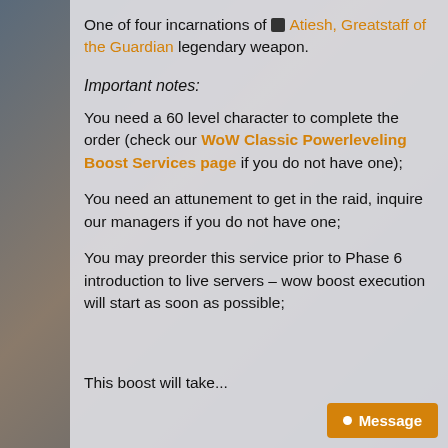One of four incarnations of [icon] Atiesh, Greatstaff of the Guardian legendary weapon.
Important notes:
You need a 60 level character to complete the order (check our WoW Classic Powerleveling Boost Services page if you do not have one);
You need an attunement to get in the raid, inquire our managers if you do not have one;
You may preorder this service prior to Phase 6 introduction to live servers – wow boost execution will start as soon as possible;
This boost will take... (continues)